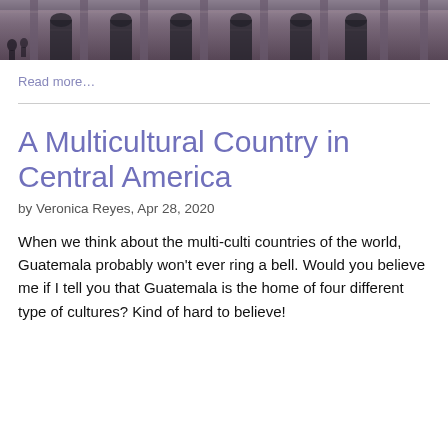[Figure (photo): Partial view of a historic stone building facade with columns and arched doorways, dark and moody lighting]
Read more…
A Multicultural Country in Central America
by Veronica Reyes, Apr 28, 2020
When we think about the multi-culti countries of the world, Guatemala probably won't ever ring a bell. Would you believe me if I tell you that Guatemala is the home of four different type of cultures? Kind of hard to believe!